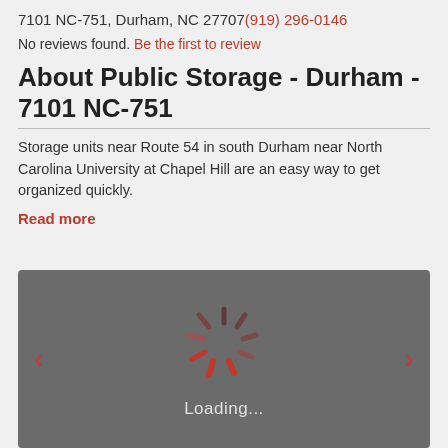7101 NC-751, Durham, NC 27707 (919) 296-0146
No reviews found. Be the first to review
About Public Storage - Durham - 7101 NC-751
Storage units near Route 54 in south Durham near North Carolina University at Chapel Hill are an easy way to get organized quickly.
Read more
[Figure (screenshot): Loading image carousel with dark gray background, red spinner, left and right navigation arrows, and 'Loading...' text]